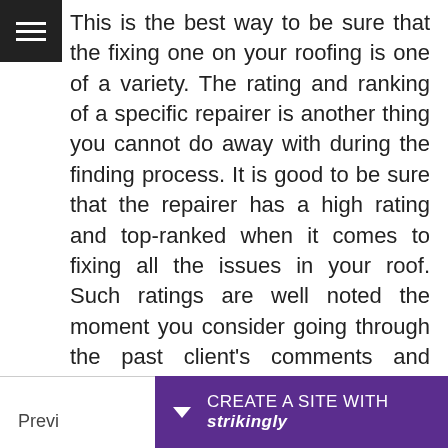This is the best way to be sure that the fixing one on your roofing is one of a variety. The rating and ranking of a specific repairer is another thing you cannot do away with during the finding process. It is good to be sure that the repairer has a high rating and top-ranked when it comes to fixing all the issues in your roof. Such ratings are well noted the moment you consider going through the past client's comments and reviews.
Prev... | CREATE A SITE WITH strikingly